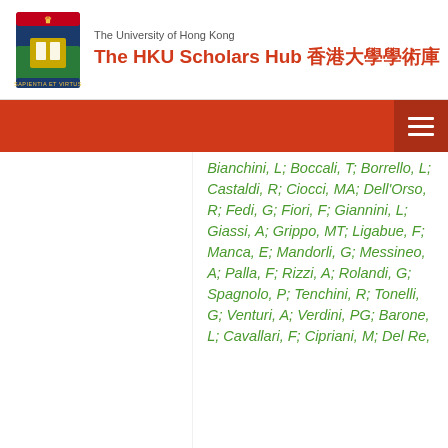The University of Hong Kong — The HKU Scholars Hub 香港大學學術庫
Bianchini, L; Boccali, T; Borrello, L; Castaldi, R; Ciocci, MA; Dell'Orso, R; Fedi, G; Fiori, F; Giannini, L; Giassi, A; Grippo, MT; Ligabue, F; Manca, E; Mandorli, G; Messineo, A; Palla, F; Rizzi, A; Rolandi, G; Spagnolo, P; Tenchini, R; Tonelli, G; Venturi, A; Verdini, PG; Barone, L; Cavallari, F; Cipriani, M; Del Re,